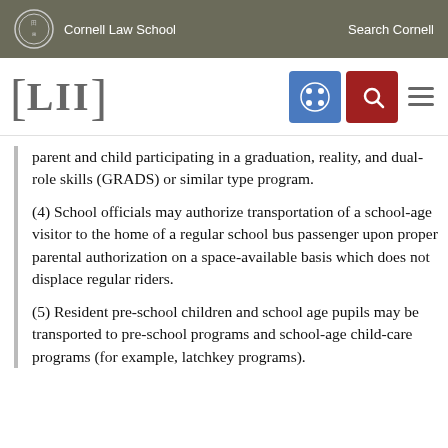Cornell Law School | Search Cornell
[Figure (logo): LII Legal Information Institute logo with navigation icons]
parent and child participating in a graduation, reality, and dual-role skills (GRADS) or similar type program.
(4) School officials may authorize transportation of a school-age visitor to the home of a regular school bus passenger upon proper parental authorization on a space-available basis which does not displace regular riders.
(5) Resident pre-school children and school age pupils may be transported to pre-school programs and school-age child-care programs (for example, latchkey programs).